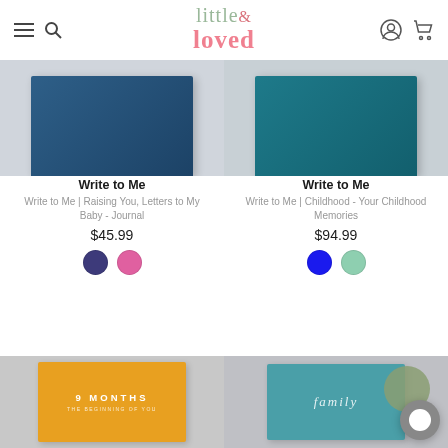little & loved
[Figure (photo): Blue hardcover journal on light gray background - Write to Me, left product]
Write to Me
Write to Me | Raising You, Letters to My Baby - Journal
$45.99
[Figure (photo): Color swatches: dark navy and pink/magenta circles]
[Figure (photo): Teal hardcover journal on light gray background - Write to Me, right product]
Write to Me
Write to Me | Childhood - Your Childhood Memories
$94.99
[Figure (photo): Color swatches: blue and mint/sage green circles]
[Figure (photo): Orange hardcover book reading '9 MONTHS - THE BEGINNING OF YOU' on gray background]
[Figure (photo): Teal hardcover book reading 'family' in italic on gray background, with chat bubble overlay]